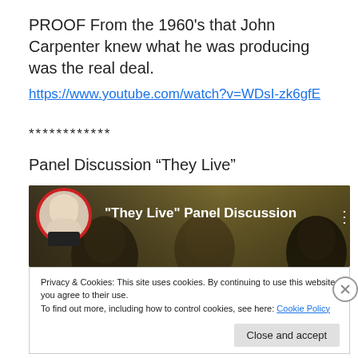PROOF From the 1960's that John Carpenter knew what he was producing was the real deal.
https://www.youtube.com/watch?v=WDsI-zk6gfE
************
Panel Discussion “They Live”
[Figure (screenshot): YouTube video thumbnail showing 'They Live Panel Discussion' with a bald man's avatar on left, text overlay, and dark background with faces]
Privacy & Cookies: This site uses cookies. By continuing to use this website, you agree to their use.
To find out more, including how to control cookies, see here: Cookie Policy
Close and accept